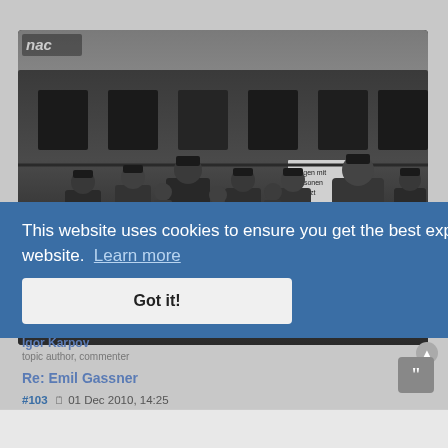[Figure (photo): Black and white historical photograph showing a group of men in military uniforms and coats standing in front of a train car. A sign on the train reads 'Wagen mit Personen besetzt'. The NAC logo appears in the upper-left corner of the photo.]
This website uses cookies to ensure you get the best experience on our website.  Learn more
Got it!
Igor Karpov
Re: Emil Gassner
#103  01 Dec 2010, 14:25